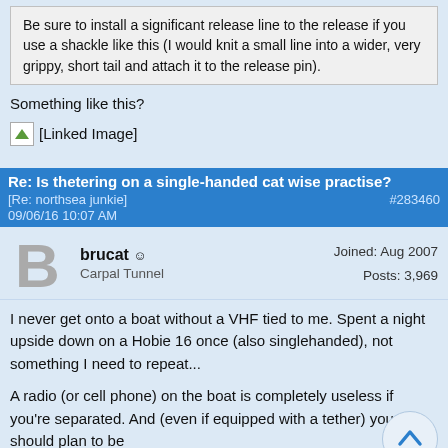Be sure to install a significant release line to the release if you use a shackle like this (I would knit a small line into a wider, very grippy, short tail and attach it to the release pin).
Something like this?
[Figure (other): Linked Image placeholder]
Re: Is thetering on a single-handed cat wise practise?
[Re: northsea junkie]
#283460
09/06/16 10:07 AM
brucat
Carpal Tunnel
Joined: Aug 2007
Posts: 3,969
I never get onto a boat without a VHF tied to me. Spent a night upside down on a Hobie 16 once (also singlehanded), not something I need to repeat...
A radio (or cell phone) on the boat is completely useless if you're separated. And (even if equipped with a tether) you should plan to be